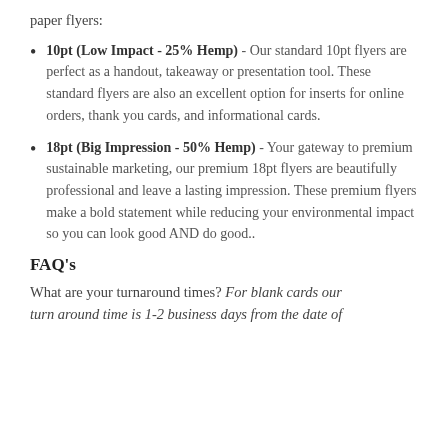paper flyers:
10pt (Low Impact - 25% Hemp) - Our standard 10pt flyers are perfect as a handout, takeaway or presentation tool. These standard flyers are also an excellent option for inserts for online orders, thank you cards, and informational cards.
18pt (Big Impression - 50% Hemp) - Your gateway to premium sustainable marketing, our premium 18pt flyers are beautifully professional and leave a lasting impression. These premium flyers make a bold statement while reducing your environmental impact so you can look good AND do good..
FAQ's
What are your turnaround times? For blank cards our turn around time is 1-2 business days from the date of